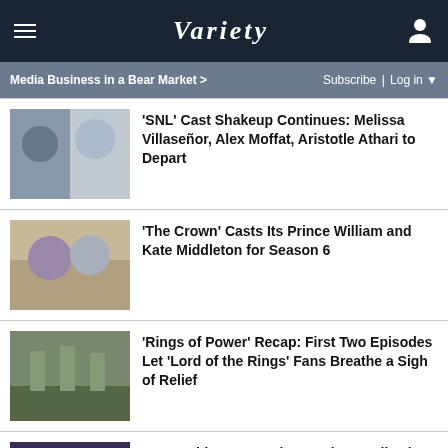Variety
Media Business in a Bear Market >  Subscribe | Log in ▼
'SNL' Cast Shakeup Continues: Melissa Villaseñor, Alex Moffat, Aristotle Athari to Depart
'The Crown' Casts Its Prince William and Kate Middleton for Season 6
'Rings of Power' Recap: First Two Episodes Let 'Lord of the Rings' Fans Breathe a Sigh of Relief
Jason Aldean's PR Firm Resigns Following Wife's Transphobic Comments